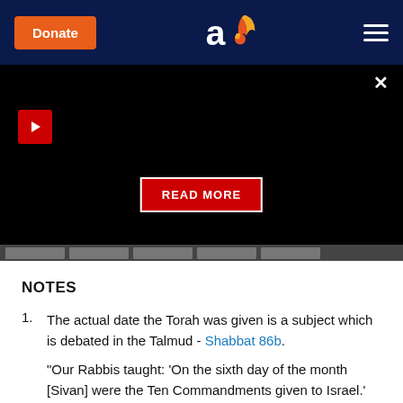[Figure (screenshot): Website header with dark navy background, orange Donate button on left, 'ao' logo in center, hamburger menu on right]
[Figure (screenshot): Black video player area with red play button, READ MORE button, and thumbnail strip at bottom]
NOTES
The actual date the Torah was given is a subject which is debated in the Talmud - Shabbat 86b.
"Our Rabbis taught: 'On the sixth day of the month [Sivan] were the Ten Commandments given to Israel.' Rabbi Yose maintained: 'On the seventh thereof.' Said Rava: 'All agree that they arrived in the Wilderness of Sinai on the first of the month.